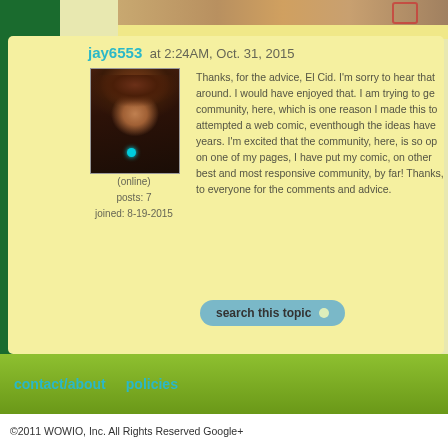[Figure (screenshot): Top portion of webpage showing a comic/forum site with an image strip at top]
jay6553 at 2:24AM, Oct. 31, 2015
[Figure (photo): Avatar image of a female character with brown hair and a blue gem necklace]
(online)
posts: 7
joined: 8-19-2015
Thanks, for the advice, El Cid. I'm sorry to hear that around. I would have enjoyed that. I am trying to ge community, here, which is one reason I made this to attempted a web comic, eventhough the ideas have years. I'm excited that the community, here, is so op on one of my pages, I have put my comic, on other best and most responsive community, by far! Thanks, to everyone for the comments and advice.
search this topic
contact/about   policies
©2011 WOWIO, Inc. All Rights Reserved Google+